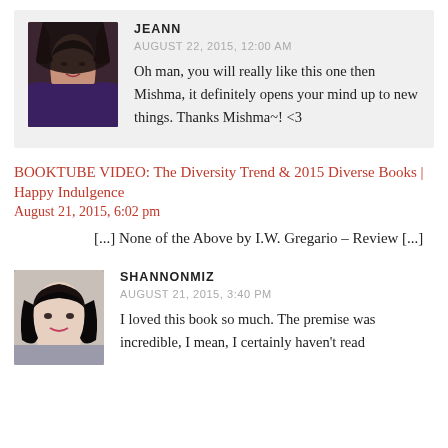JEANN
AUGUST 22, 2015, 12:00 AM
Oh man, you will really like this one then Mishma, it definitely opens your mind up to new things. Thanks Mishma~! <3
BOOKTUBE VIDEO: The Diversity Trend & 2015 Diverse Books | Happy Indulgence
August 21, 2015, 6:02 pm
[...] None of the Above by I.W. Gregario  – Review [...]
[Figure (photo): Avatar photo of Shannon Miz, a woman with dark hair smiling]
SHANNONMIZ
AUGUST 21, 2015, 3:40 PM
I loved this book so much. The premise was incredible, I mean, I certainly haven't read